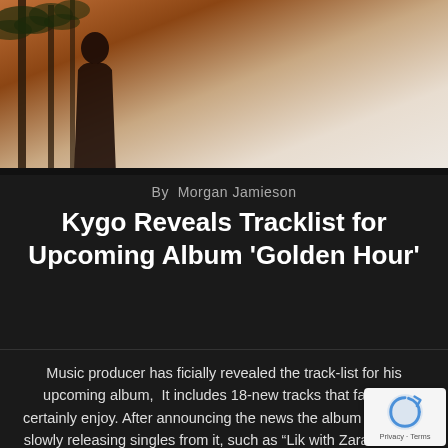[Figure (photo): Album art or photo showing a silhouette of a person against a warm sunset sky with palm trees, warm orange and beige tones]
By  Morgan Jamieson
Kygo Reveals Tracklist for Upcoming Album 'Golden Hour'
Music producer has ficially revealed the track-list for his upcoming album,  It includes 18-new tracks that fans will certainly enjoy. After announcing the news the album has been slowly releasing singles from it, such as “Lik with Zara Larsson and Tyga, “I’ll Wait” with Sasha Sloan, Higher